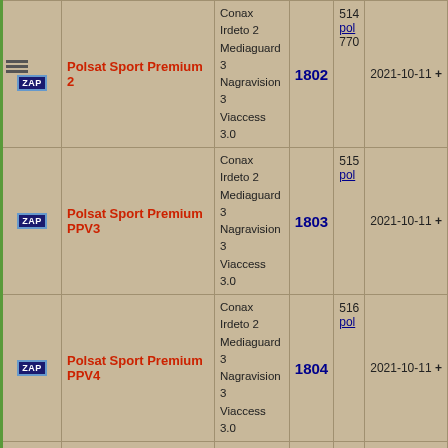| Icon | Channel | Encryption | SID | VPID/Pol | Date |
| --- | --- | --- | --- | --- | --- |
| ZAP | Polsat Sport Premium 2 | Conax
Irdeto 2
Mediaguard 3
Nagravision 3
Viaccess 3.0 | 1802 | 514
pol
770 | 2021-10-11 + |
| ZAP | Polsat Sport Premium PPV3 | Conax
Irdeto 2
Mediaguard 3
Nagravision 3
Viaccess 3.0 | 1803 | 515
pol | 2021-10-11 + |
| ZAP | Polsat Sport Premium PPV4 | Conax
Irdeto 2
Mediaguard 3
Nagravision 3
Viaccess 3.0 | 1804 | 516
pol | 2021-10-11 + |
| ZAP | Polsat Sport Premium PPV5 | Conax
Irdeto 2
Mediaguard 3
Nagravision 3
Viaccess 3.0 | 1805 | 517
pol | 2021-10-11 + |
| ZAP | Polsat Sport Premium PPV6 | Conax
Irdeto 2
Mediaguard 3
Nagravision 3
Viaccess 3.0 | 1806 | 518
pol | 2021-10-11 + |